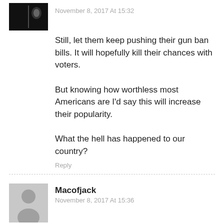November 8, 2017 At 15:32
Still, let them keep pushing their gun ban bills. It will hopefully kill their chances with voters.

But knowing how worthless most Americans are I'd say this will increase their popularity.

What the hell has happened to our country?
Reply
Macofjack
November 8, 2017 At 15:36
Stupid is as stupid does!
Reply
[Figure (screenshot): Franklin Armory advertisement banner with shield logo, text FRANKLIN ARMORY and SHOP AMERICAN on a dark background with American flag]